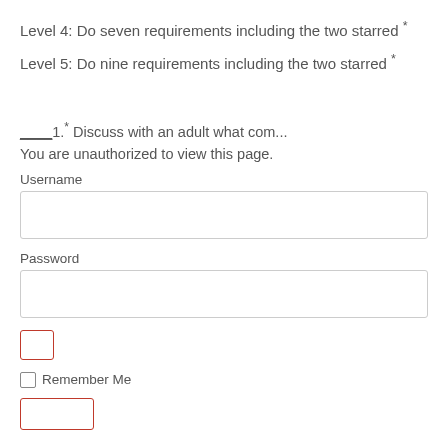Level 4: Do seven requirements including the two starred *
Level 5: Do nine requirements including the two starred *
____1.* Discuss with an adult what com...
You are unauthorized to view this page.
Username
Password
Remember Me